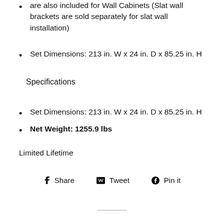are also included for Wall Cabinets (Slat wall brackets are sold separately for slat wall installation)
Set Dimensions: 213 in. W x 24 in. D x 85.25 in. H
Specifications
Set Dimensions: 213 in. W x 24 in. D x 85.25 in. H
Net Weight: 1255.9 lbs
Limited Lifetime
Share   Tweet   Pin it